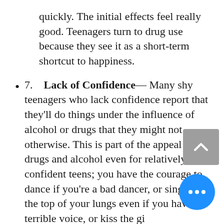quickly. The initial effects feel really good. Teenagers turn to drug use because they see it as a short-term shortcut to happiness.
7.    Lack of Confidence— Many shy teenagers who lack confidence report that they'll do things under the influence of alcohol or drugs that they might not otherwise. This is part of the appeal of drugs and alcohol even for relatively self-confident teens; you have the courage to dance if you're a bad dancer, or sing at the top of your lungs even if you have a terrible voice, or kiss the girl